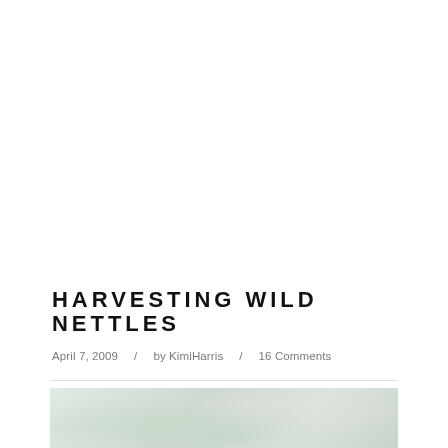HARVESTING WILD NETTLES
April 7, 2009 / by KimiHarris / 16 Comments
[Figure (photo): Partial photo of wild nettles, showing blurred green foliage at the bottom of the page]